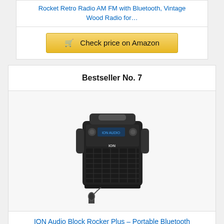Rocket Retro Radio AM FM with Bluetooth, Vintage Wood Radio for…
Check price on Amazon
Bestseller No. 7
[Figure (photo): ION Audio Block Rocker Plus portable Bluetooth speaker, black, with a microphone in front]
ION Audio Block Rocker Plus – Portable Bluetooth Speaker 100W…